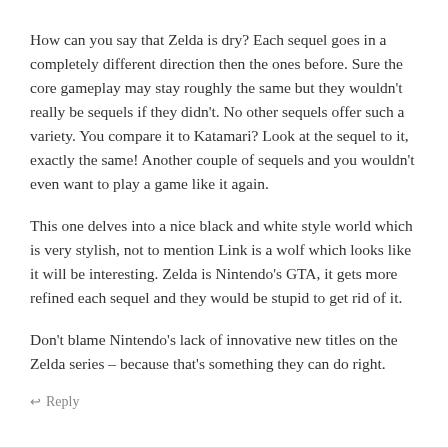How can you say that Zelda is dry? Each sequel goes in a completely different direction then the ones before. Sure the core gameplay may stay roughly the same but they wouldn't really be sequels if they didn't. No other sequels offer such a variety. You compare it to Katamari? Look at the sequel to it, exactly the same! Another couple of sequels and you wouldn't even want to play a game like it again.
This one delves into a nice black and white style world which is very stylish, not to mention Link is a wolf which looks like it will be interesting. Zelda is Nintendo's GTA, it gets more refined each sequel and they would be stupid to get rid of it.
Don't blame Nintendo's lack of innovative new titles on the Zelda series – because that's something they can do right.
↩ Reply